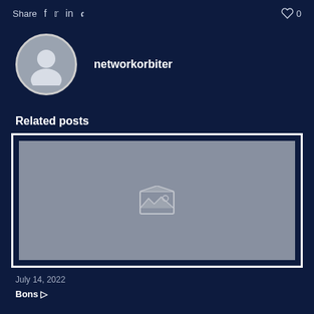Share  f  𝕏  in  𝒑    ♡ 0
networkorbiter
Related posts
[Figure (photo): Placeholder image with broken image icon on grey background inside a white-bordered frame]
July 14, 2022
Bons □□□□□□□□□□□ ▷ □□□□□□□ □□□□□□□□□□□□